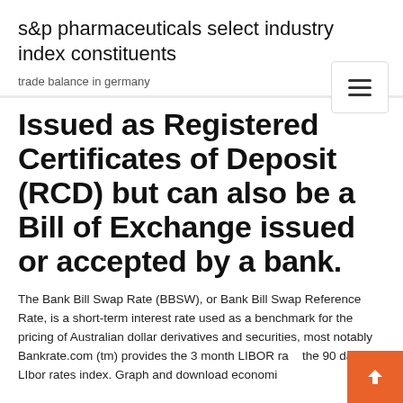s&p pharmaceuticals select industry index constituents
trade balance in germany
Issued as Registered Certificates of Deposit (RCD) but can also be a Bill of Exchange issued or accepted by a bank.
The Bank Bill Swap Rate (BBSW), or Bank Bill Swap Reference Rate, is a short-term interest rate used as a benchmark for the pricing of Australian dollar derivatives and securities, most notably Bankrate.com (tm) provides the 3 month LIBOR rate the 90 day LIbor rates index. Graph and download economic